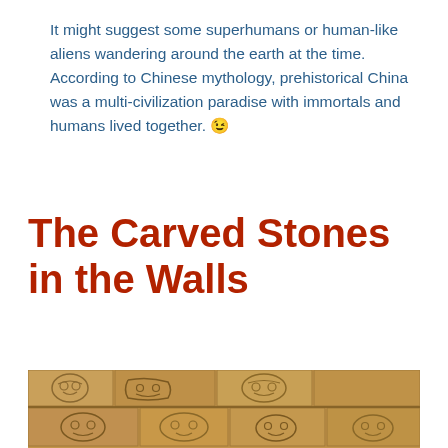It might suggest some superhumans or human-like aliens wandering around the earth at the time. According to Chinese mythology, prehistorical China was a multi-civilization paradise with immortals and humans lived together. 😉
The Carved Stones in the Walls
[Figure (photo): Close-up photograph of an ancient stone wall with carved relief sculptures showing stylized faces and decorative motifs in sandy-brown stone, resembling Mesoamerican or pre-Columbian carved stonework.]